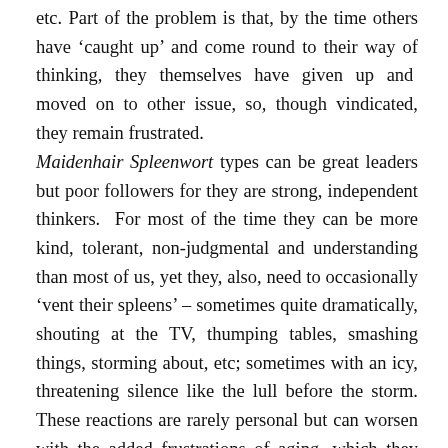etc. Part of the problem is that, by the time others have 'caught up' and come round to their way of thinking, they themselves have given up and moved on to other issue, so, though vindicated, they remain frustrated.
Maidenhair Spleenwort types can be great leaders but poor followers for they are strong, independent thinkers. For most of the time they can be more kind, tolerant, non-judgmental and understanding than most of us, yet they, also, need to occasionally 'vent their spleens' – sometimes quite dramatically, shouting at the TV, thumping tables, smashing things, storming about, etc; sometimes with an icy, threatening silence like the lull before the storm. These reactions are rarely personal but can worsen with the added frustrations of aging, which they resent. All can be upsetting, and